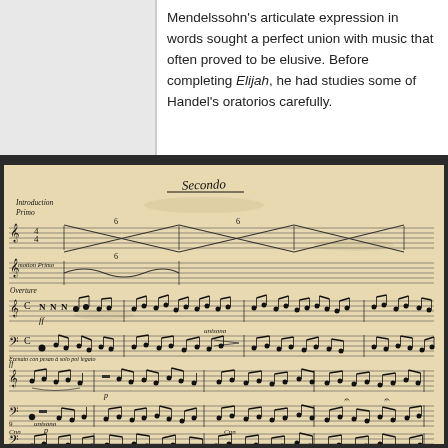Mendelssohn's articulate expression in words sought a perfect union with music that often proved to be elusive. Before completing Elijah, he had studies some of Handel's oratorios carefully.
[Figure (photo): Manuscript page of Mendelssohn's handwritten musical score, labeled 'Secondo' at the top center, showing the introduction, overture sections with handwritten notation on aged parchment paper. Includes multiple staves with complex musical notation, dynamics markings, and Italian performance instructions.]